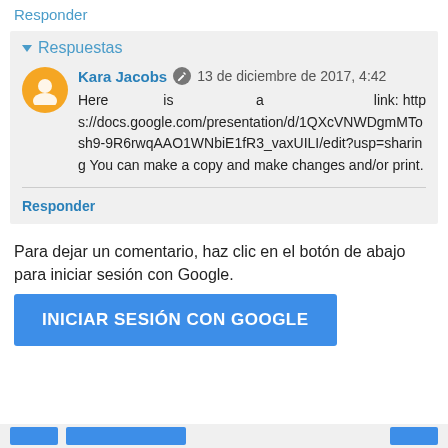Responder
Respuestas
Kara Jacobs · 13 de diciembre de 2017, 4:42
Here is a link: https://docs.google.com/presentation/d/1QXcVNWDgmMTosh9-9R6rwqAAO1WNbiE1fR3_vaxUILI/edit?usp=sharing You can make a copy and make changes and/or print.
Responder
Para dejar un comentario, haz clic en el botón de abajo para iniciar sesión con Google.
INICIAR SESIÓN CON GOOGLE